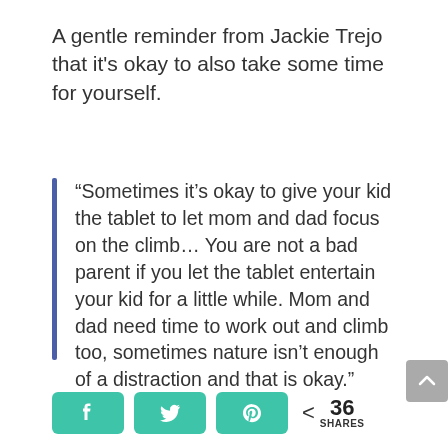A gentle reminder from Jackie Trejo that it's okay to also take some time for yourself.
“Sometimes it’s okay to give your kid the tablet to let mom and dad focus on the climb… You are not a bad parent if you let the tablet entertain your kid for a little while. Mom and dad need time to work out and climb too, sometimes nature isn’t enough of a distraction and that is okay.”
[Figure (infographic): Social share bar with Facebook, Twitter, Pinterest buttons in teal/green and a share count of 36 SHARES]